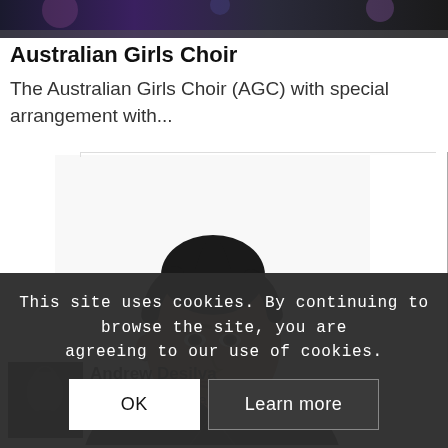[Figure (photo): Top banner image showing a dark stage or event background with purple/blue lighting]
Australian Girls Choir
The Australian Girls Choir (AGC) with special arrangement with...
[Figure (photo): Portrait photo of a young man with a styled mohawk, wearing a black leather jacket, looking upward. Australia's Got Talent 2012 Winner Andrew Desilva.]
[Figure (photo): Small thumbnail image of Andrew Desilva in dark clothing]
Andrew Desilva
Australia's Got Talent 2012 Winner Andrew
This site uses cookies. By continuing to browse the site, you are agreeing to our use of cookies.